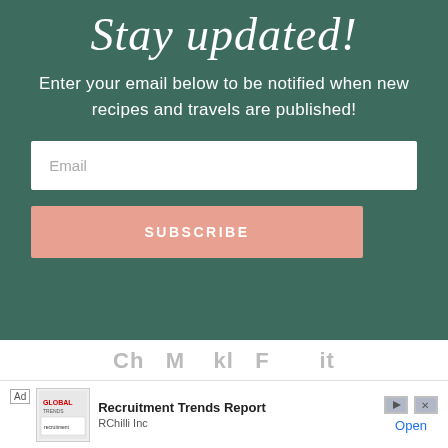Stay updated!
Enter your email below to be notified when new recipes and travels are published!
[Figure (screenshot): Email input field with placeholder text 'Email' on white background inside green section]
[Figure (screenshot): Salmon/peach colored Subscribe button with white uppercase text 'SUBSCRIBE']
[Figure (screenshot): Advertisement bar at bottom: Ad label, Global logo image, 'Recruitment Trends Report' by RChilli Inc, with play and X icons and Open link in blue]